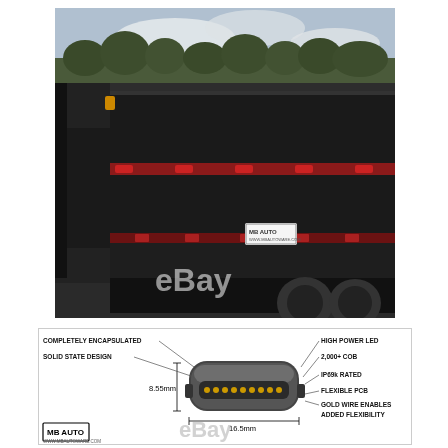[Figure (photo): Photo of a black dump trailer/truck with red/amber LED clearance lights along the side, watermarked with 'eBay' text. Trees and cloudy sky visible in background.]
[Figure (infographic): Technical diagram of an LED light bar showing labeled components: COMPLETELY ENCAPSULATED, SOLID STATE DESIGN, 8.55mm width, HIGH POWER LED, 2,000+ COB, IP69k RATED, FLEXIBLE PCB, GOLD WIRE ENABLES ADDED FLEXIBILITY. Dimensions shown: 8.55mm and 16.5mm. MB AUTO logo and eBay watermark visible.]